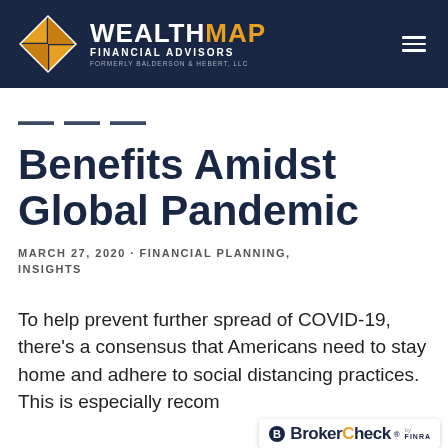[Figure (logo): WealthMap Financial Advisors logo with diamond/compass rose icon in orange and white, text in white, formerly Balderson & Hebert, LLC, on dark navy background with hamburger menu icon]
Paid Leave Benefits Amidst Global Pandemic
MARCH 27, 2020 · FINANCIAL PLANNING, INSIGHTS
To help prevent further spread of COVID-19, there's a consensus that Americans need to stay home and adhere to social distancing practices. This is especially recom...